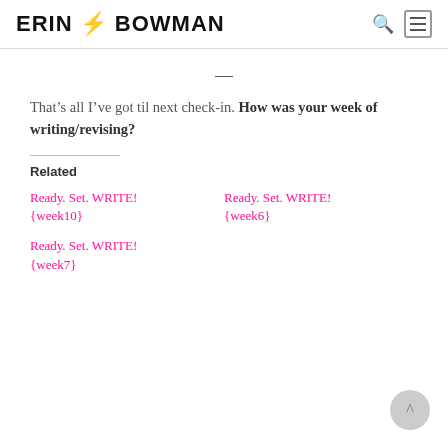ERIN BOWMAN
—
That's all I've got til next check-in. How was your week of writing/revising?
Related
Ready. Set. WRITE! {week10}
Ready. Set. WRITE! {week6}
Ready. Set. WRITE! {week7}